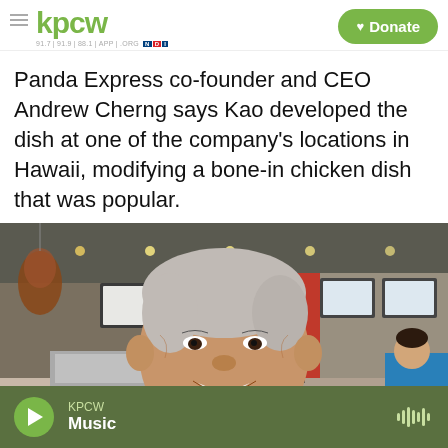kpcw — Donate
Panda Express co-founder and CEO Andrew Cherng says Kao developed the dish at one of the company's locations in Hawaii, modifying a bone-in chicken dish that was popular.
[Figure (photo): Andrew Cherng, Panda Express co-founder and CEO, smiling inside a Panda Express restaurant with red walls, menu screens, and staff visible in the background.]
KPCW Music